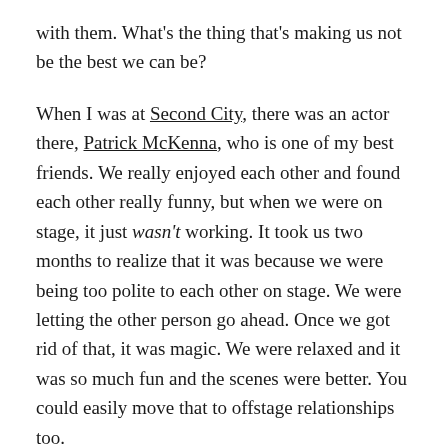with them. What's the thing that's making us not be the best we can be?
When I was at Second City, there was an actor there, Patrick McKenna, who is one of my best friends. We really enjoyed each other and found each other really funny, but when we were on stage, it just wasn't working. It took us two months to realize that it was because we were being too polite to each other on stage. We were letting the other person go ahead. Once we got rid of that, it was magic. We were relaxed and it was so much fun and the scenes were better. You could easily move that to offstage relationships too.
Do you feel like your time improvising has made a considerable impact on the way you relate to people in real life?